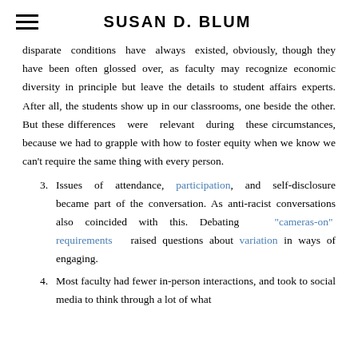SUSAN D. BLUM
disparate conditions have always existed, obviously, though they have been often glossed over, as faculty may recognize economic diversity in principle but leave the details to student affairs experts. After all, the students show up in our classrooms, one beside the other. But these differences were relevant during these circumstances, because we had to grapple with how to foster equity when we know we can't require the same thing with every person.
3. Issues of attendance, participation, and self-disclosure became part of the conversation. As anti-racist conversations also coincided with this. Debating "cameras-on" requirements raised questions about variation in ways of engaging.
4. Most faculty had fewer in-person interactions, and took to social media to think through a lot of what